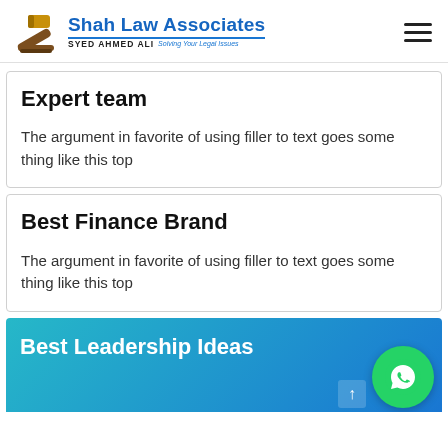Shah Law Associates — Syed Ahmed Ali — Solving Your Legal Issues
Expert team
The argument in favorite of using filler to text goes some thing like this top
Best Finance Brand
The argument in favorite of using filler to text goes some thing like this top
Best Leadership Ideas